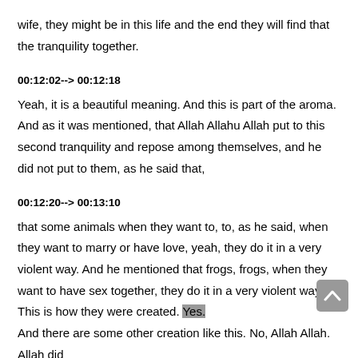wife, they might be in this life and the end they will find that the tranquility together.
00:12:02--> 00:12:18
Yeah, it is a beautiful meaning. And this is part of the aroma. And as it was mentioned, that Allah Allahu Allah put to this second tranquility and repose among themselves, and he did not put to them, as he said that,
00:12:20--> 00:13:10
that some animals when they want to, to, as he said, when they want to marry or have love, yeah, they do it in a very violent way. And he mentioned that frogs, frogs, when they want to have sex together, they do it in a very violent way. This is how they were created. Yes. And there are some other creation like this. No, Allah Allah. Allah did